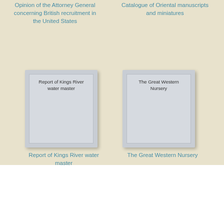Opinion of the Attorney General concerning British recruitment in the United States
Catalogue of Oriental manuscripts and miniatures
[Figure (illustration): Book cover placeholder for Report of Kings River water master]
[Figure (illustration): Book cover placeholder for The Great Western Nursery]
Report of Kings River water master
The Great Western Nursery
Missile development by United States. General Accounting Office Download PDF EPUB FB2